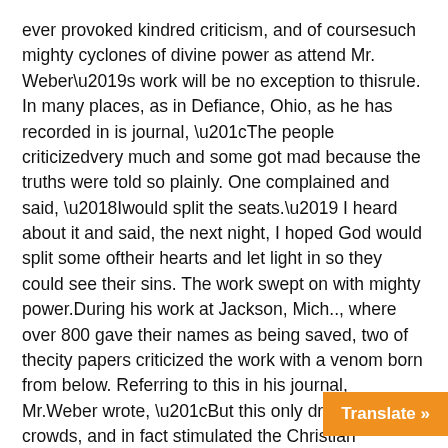ever provoked kindred criticism, and of coursesuch mighty cyclones of divine power as attend Mr. Weber’s work will be no exception to thisrule. In many places, as in Defiance, Ohio, as he has recorded in is journal, “The people criticizedvery much and some got mad because the truths were told so plainly. One complained and said, ‘Iwould split the seats.’ I heard about it and said, the next night, I hoped God would split some oftheir hearts and let light in so they could see their sins. The work swept on with mighty power.During his work at Jackson, Mich.., where over 800 gave their names as being saved, two of thecity papers criticized the work with a venom born from below. Referring to this in his journal, Mr.Weber wrote, “But this only drew out the crowds, and in fact stimulated the Christian people.”Thus God makes the wrath of man to praise Him. The evangelist treats these criticisms as a planetwould a pebble.
One of the most cunning devices of the devil is that in which he deceives people to persistin worldlines opposition to holiness and aggressive -rev